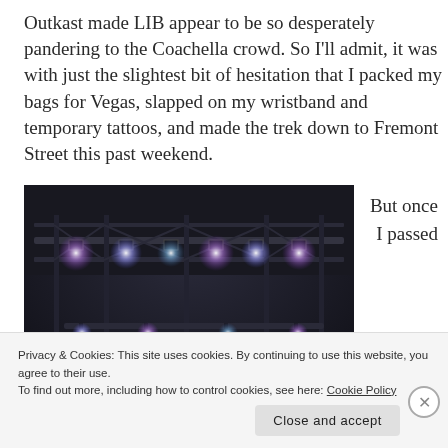Outkast made LIB appear to be so desperately pandering to the Coachella crowd. So I'll admit, it was with just the slightest bit of hesitation that I packed my bags for Vegas, slapped on my wristband and temporary tattoos, and made the trek down to Fremont Street this past weekend.
[Figure (photo): Indoor concert venue or stage setup with metal scaffolding, trusses, and multiple stage lights illuminated in blue and purple tones, viewed from below and to the side.]
But once I passed
Privacy & Cookies: This site uses cookies. By continuing to use this website, you agree to their use.
To find out more, including how to control cookies, see here: Cookie Policy